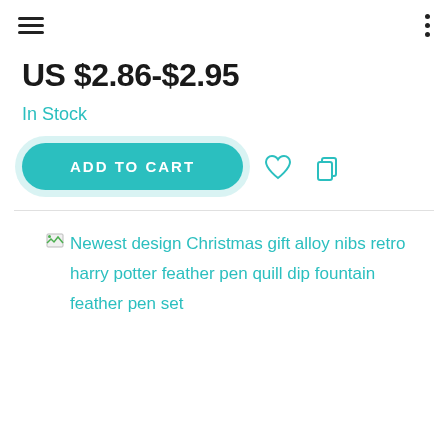US $2.86-$2.95
In Stock
ADD TO CART
Newest design Christmas gift alloy nibs retro harry potter feather pen quill dip fountain feather pen set